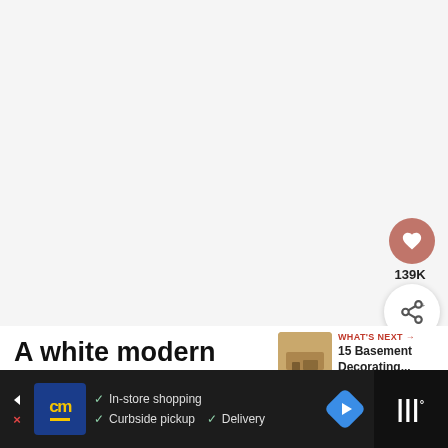[Figure (photo): Large mostly white/blank image area representing a modern finished basement with stained concrete floors (image content not fully visible)]
139K
A white modern finished basement with stained concrete floors.
[Figure (screenshot): What's Next promo box with thumbnail image of basement, label 'WHAT'S NEXT' and text '15 Basement Decorating...']
[Figure (screenshot): Advertisement bar: cm logo, In-store shopping, Curbside pickup, Delivery checkmarks, navigation arrow icon]